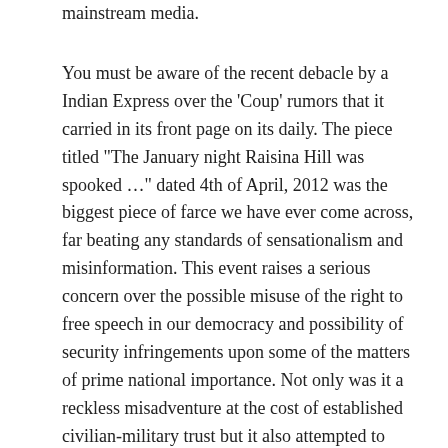mainstream media.
You must be aware of the recent debacle by a Indian Express over the 'Coup' rumors that it carried in its front page on its daily. The piece titled "The January night Raisina Hill was spooked …" dated 4th of April, 2012 was the biggest piece of farce we have ever come across, far beating any standards of sensationalism and misinformation. This event raises a serious concern over the possible misuse of the right to free speech in our democracy and possibility of security infringements upon some of the matters of prime national importance. Not only was it a reckless misadventure at the cost of established civilian-military trust but it also attempted to paint a shadow of doubt over an otherwise impeccable record of our Armed forces and the integrity of COAS, General V.K.Singh.